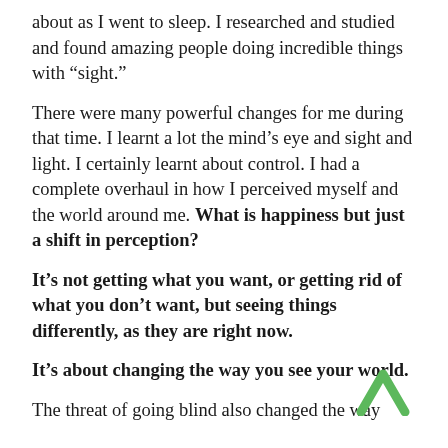about as I went to sleep. I researched and studied and found amazing people doing incredible things with “sight.”
There were many powerful changes for me during that time. I learnt a lot the mind’s eye and sight and light. I certainly learnt about control. I had a complete overhaul in how I perceived myself and the world around me. What is happiness but just a shift in perception?
It’s not getting what you want, or getting rid of what you don’t want, but seeing things differently, as they are right now.
It’s about changing the way you see your world.
The threat of going blind also changed the way I viewed myself and how I looked in the mirror.
[Figure (illustration): A green upward-pointing chevron/arrow icon in the bottom right area of the page]